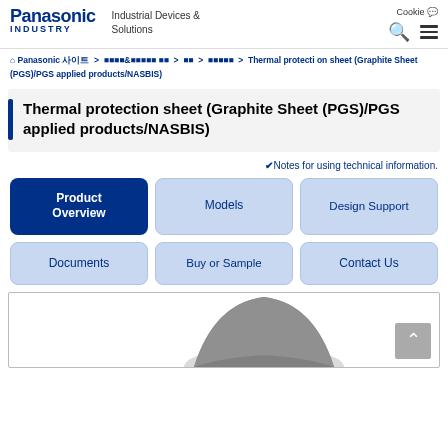Panasonic INDUSTRY | Industrial Devices & Solutions | Cookie
🏠 Panasonic 사이트 > 제품&솔루션 찾기 > 제품 > 열관리제품 > Thermal protection sheet (Graphite Sheet (PGS)/PGS applied products/NASBIS)
Thermal protection sheet (Graphite Sheet (PGS)/PGS applied products/NASBIS)
✔Notes for using technical information.
Product Overview
Models
Design Support
Documents
Buy or Sample
Contact Us
[Figure (photo): Graphite sheet product image showing a dark grey shaped sheet material]